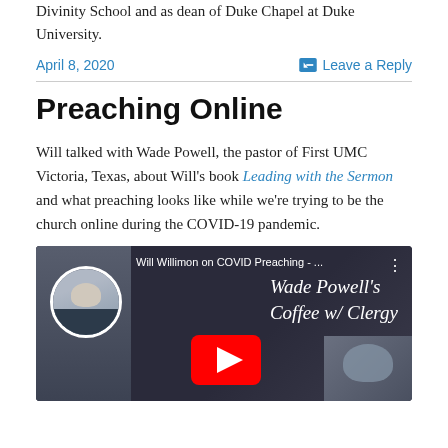Divinity School and as dean of Duke Chapel at Duke University.
April 8, 2020    Leave a Reply
Preaching Online
Will talked with Wade Powell, the pastor of First UMC Victoria, Texas, about Will's book Leading with the Sermon and what preaching looks like while we're trying to be the church online during the COVID-19 pandemic.
[Figure (screenshot): YouTube video thumbnail showing Will Willimon on COVID Preaching, Wade Powell's Coffee w/ Clergy, with a circular avatar of a man in a clerical collar and a YouTube play button.]